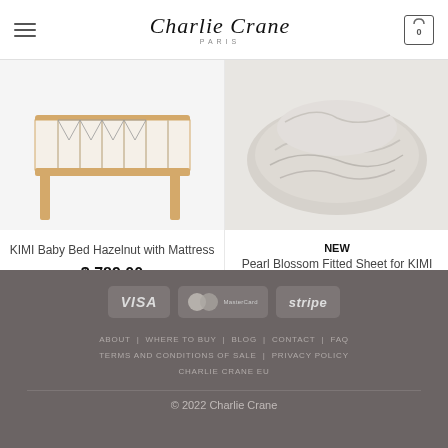Charlie Crane Paris — Navigation header with hamburger menu and cart (0)
[Figure (photo): Partial view of KIMI Baby Bed Hazelnut with wooden frame and geometric pattern fabric, product image cut off at top]
KIMI Baby Bed Hazelnut with Mattress
$ 789.00
In stock
[Figure (photo): Partial view of Pearl Blossom Fitted Sheet for KIMI baby bed, light grey fabric folded, product image cut off at top]
NEW
Pearl Blossom Fitted Sheet for KIMI baby bed
$ 45.00
In stock
VISA MasterCard stripe — ABOUT WHERE TO BUY BLOG CONTACT FAQ TERMS AND CONDITIONS OF SALE PRIVACY POLICY CHARLIE CRANE EU — © 2022 Charlie Crane